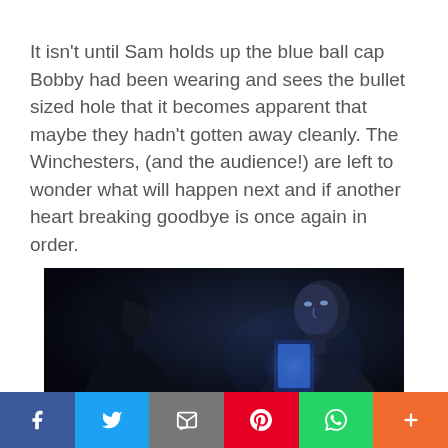It isn't until Sam holds up the blue ball cap Bobby had been wearing and sees the bullet sized hole that it becomes apparent that maybe they hadn't gotten away cleanly. The Winchesters, (and the audience!) are left to wonder what will happen next and if another heart breaking goodbye is once again in order.
[Figure (photo): Dark scene showing two people in a car, one facing left in silhouette, the other facing right holding a phone emitting blue light]